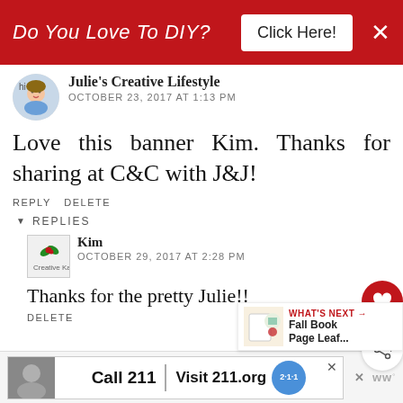Do You Love To DIY? Click Here!
Julie's Creative Lifestyle
OCTOBER 23, 2017 AT 1:13 PM
Love this banner Kim. Thanks for sharing at C&C with J&J!
REPLY DELETE
REPLIES
Kim
OCTOBER 29, 2017 AT 2:28 PM
Thanks for the pretty Julie!!
DELETE
WHAT'S NEXT → Fall Book Page Leaf...
Call 211 | Visit 211.org 2·1·1